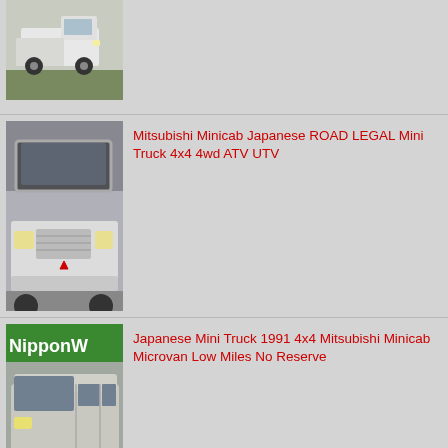[Figure (photo): Partial view of a Japanese mini truck (white flatbed pickup), cropped at top of page]
[Figure (photo): White Mitsubishi Minicab mini truck, front 3/4 view]
Mitsubishi Minicab Japanese ROAD LEGAL Mini Truck 4x4 4wd ATV UTV
[Figure (photo): Japanese mini truck 1991 Mitsubishi Minicab Microvan, silver/grey van, with NipponW sign in background]
Japanese Mini Truck 1991 4x4 Mitsubishi Minicab Microvan Low Miles No Reserve
[Figure (photo): 1992 Mitsubishi Minicab 4x4 flatbed truck, olive/yellow-green color with trees in background]
1992 Mitsubishi Minicab 4x4